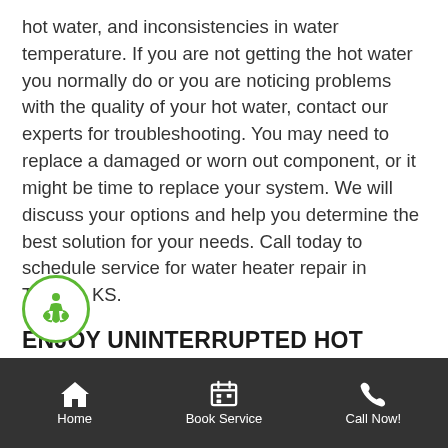hot water, and inconsistencies in water temperature. If you are not getting the hot water you normally do or you are noticing problems with the quality of your hot water, contact our experts for troubleshooting. You may need to replace a damaged or worn out component, or it might be time to replace your system. We will discuss your options and help you determine the best solution for your needs. Call today to schedule service for water heater repair in Topeka, KS.
ENJOY UNINTERRUPTED HOT WATER WITH TIMELY WATER HEATER REPLACEMENT YOUR TOPEKA HOME: REQUEST AN ESTIMATE TODAY
Home | Book Service | Call Now!